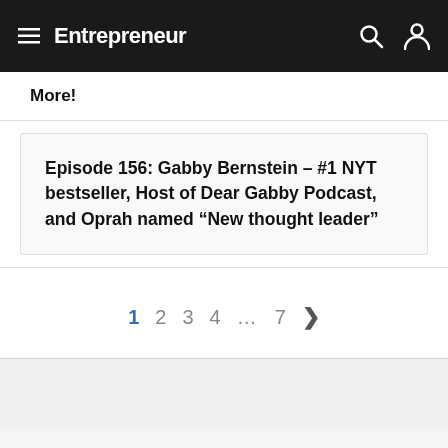Entrepreneur
More!
Episode 156: Gabby Bernstein – #1 NYT bestseller, Host of Dear Gabby Podcast, and Oprah named “New thought leader”
1  2  3  4  …  7  >